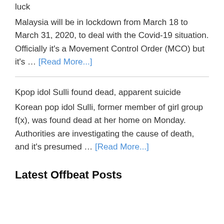luck
Malaysia will be in lockdown from March 18 to March 31, 2020, to deal with the Covid-19 situation. Officially it's a Movement Control Order (MCO) but it's … [Read More...]
Kpop idol Sulli found dead, apparent suicide
Korean pop idol Sulli, former member of girl group f(x), was found dead at her home on Monday. Authorities are investigating the cause of death, and it's presumed … [Read More...]
Latest Offbeat Posts